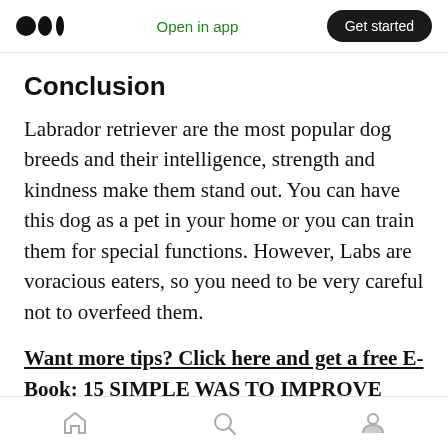Medium logo | Open in app | Get started
Conclusion
Labrador retriever are the most popular dog breeds and their intelligence, strength and kindness make them stand out. You can have this dog as a pet in your home or you can train them for special functions. However, Labs are voracious eaters, so you need to be very careful not to overfeed them.
Want more tips? Click here and get a free E-Book: 15 SIMPLE WAS TO IMPROVE YOUR DOG'S LIFE
Home | Search | Profile